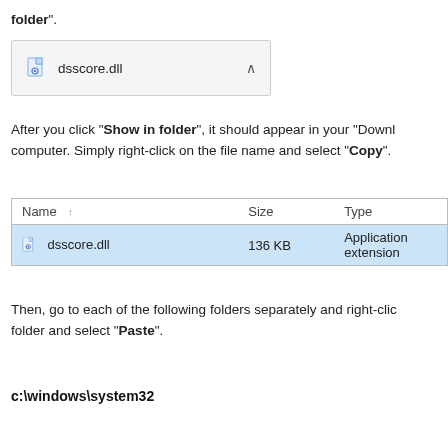folder".
[Figure (screenshot): Screenshot of a browser download bar showing dsscore.dll file with a caret/expand button]
After you click "Show in folder", it should appear in your "Downloads" folder on your computer. Simply right-click on the file name and select "Copy".
[Figure (screenshot): Windows Explorer file listing showing dsscore.dll, 136 KB, Application extension, selected in blue]
Then, go to each of the following folders separately and right-click on an empty spot in the folder and select "Paste".
c:\windows\system32